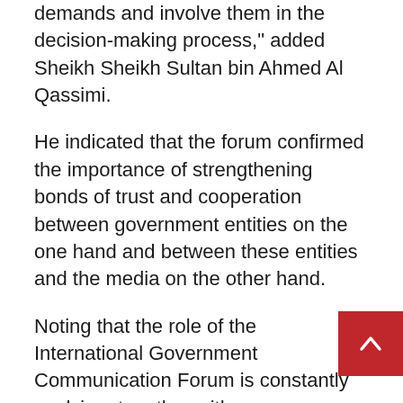demands and involve them in the decision-making process," added Sheikh Sheikh Sultan bin Ahmed Al Qassimi.
He indicated that the forum confirmed the importance of strengthening bonds of trust and cooperation between government entities on the one hand and between these entities and the media on the other hand.
Noting that the role of the International Government Communication Forum is constantly evolving, together with communication technologies, SMC Chairman said: "We now need to work in an extremely prompt and effective manner. We have already begun to develop a plan for an array of year-round